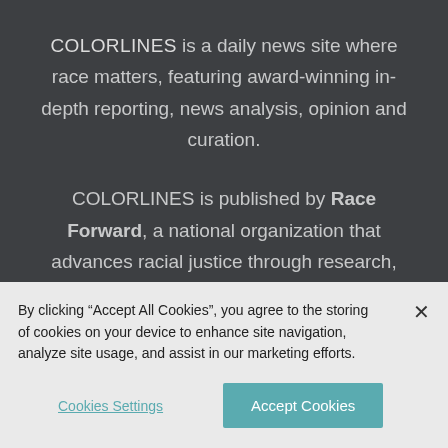COLORLINES is a daily news site where race matters, featuring award-winning in-depth reporting, news analysis, opinion and curation.
COLORLINES is published by Race Forward, a national organization that advances racial justice through research,
By clicking “Accept All Cookies”, you agree to the storing of cookies on your device to enhance site navigation, analyze site usage, and assist in our marketing efforts.
Cookies Settings
Accept Cookies